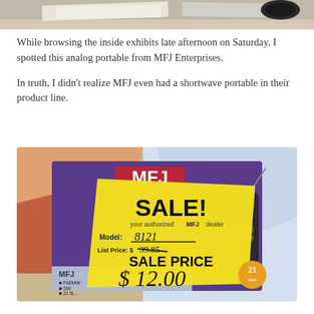[Figure (photo): Partial top image showing papers and documents on a table, cropped at the top of the page]
While browsing the inside exhibits late afternoon on Saturday, I spotted this analog portable from MFJ Enterprises.
In truth, I didn't realize MFJ even had a shortwave portable in their product line.
[Figure (photo): Photo of an MFJ radio box with a yellow sale tag reading: SALE! your authorized MFJ dealer, Model: 8121, List Price: $ 39.85 (crossed out), SALE PRICE $ 12.00]
Partial text cut off at bottom of page